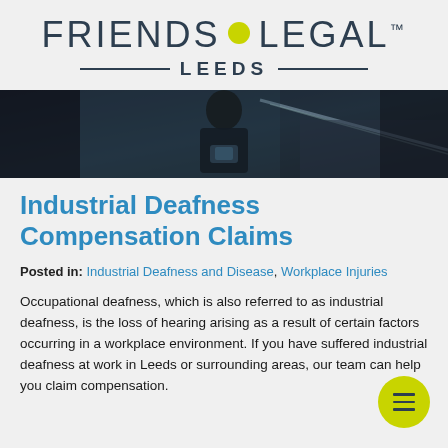FRIENDS LEGAL™ LEEDS
[Figure (photo): Dark photograph of a person on stairs, looking at a phone, partially obscured]
Industrial Deafness Compensation Claims
Posted in: Industrial Deafness and Disease, Workplace Injuries
Occupational deafness, which is also referred to as industrial deafness, is the loss of hearing arising as a result of certain factors occurring in a workplace environment. If you have suffered industrial deafness at work in Leeds or surrounding areas, our team can help you claim compensation.